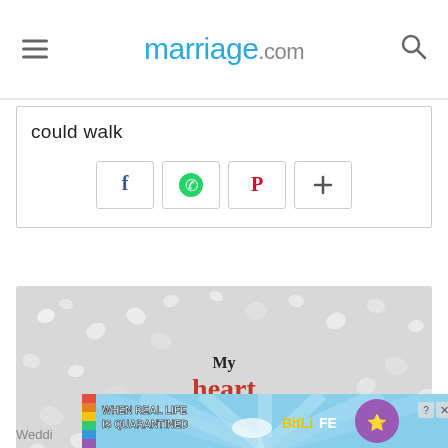marriage.com
could walk
[Figure (screenshot): Social share buttons: Facebook (f), WhatsApp (green phone), Pinterest (P red), Plus (+)]
[Figure (photo): Image of white heart-shaped candies scattered on a light gray background with text overlay: 'My heart is and will always be yours. - Jane Austin']
[Figure (screenshot): Ad banner: WHEN REAL LIFE IS QUARANTINED - BitLife game advertisement with emoji character]
Wedding